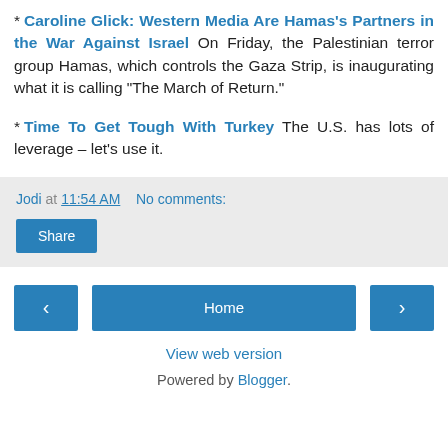* Caroline Glick: Western Media Are Hamas's Partners in the War Against Israel On Friday, the Palestinian terror group Hamas, which controls the Gaza Strip, is inaugurating what it is calling "The March of Return."
* Time To Get Tough With Turkey The U.S. has lots of leverage – let's use it.
Jodi at 11:54 AM   No comments:
Share
Home
View web version
Powered by Blogger.